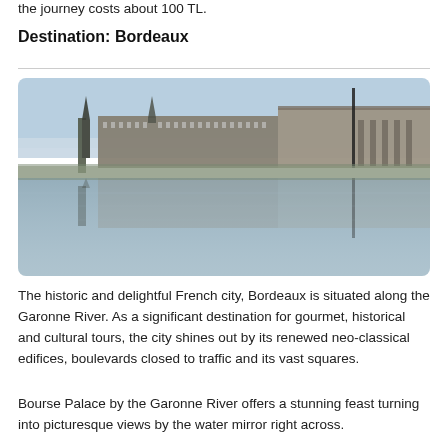the journey costs about 100 TL.
Destination: Bordeaux
[Figure (photo): Panoramic photo of Bordeaux waterfront along the Garonne River, showing neo-classical buildings reflected in a water mirror, with a tall spire on the left side.]
The historic and delightful French city, Bordeaux is situated along the Garonne River. As a significant destination for gourmet, historical and cultural tours, the city shines out by its renewed neo-classical edifices, boulevards closed to traffic and its vast squares.
Bourse Palace by the Garonne River offers a stunning feast turning into picturesque views by the water mirror right across.